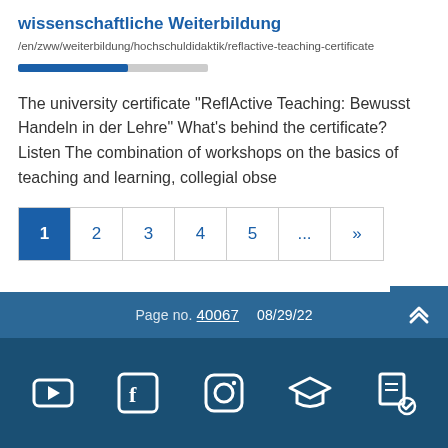wissenschaftliche Weiterbildung
/en/zww/weiterbildung/hochschuldidaktik/reflactive-teaching-certificate
The university certificate "ReflActive Teaching: Bewusst Handeln in der Lehre" What's behind the certificate? Listen The combination of workshops on the basics of teaching and learning, collegial obse
1 2 3 4 5 ... »
Page no. 40067   08/29/22